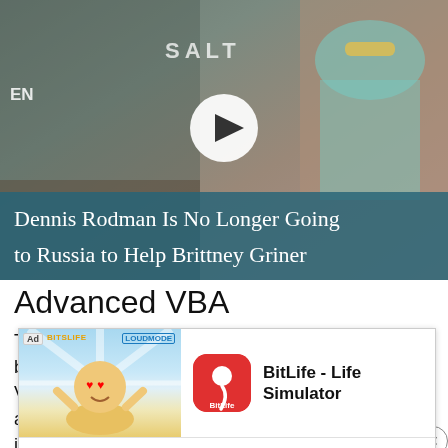[Figure (screenshot): Video thumbnail showing Dennis Rodman with a play button overlay. A teal/blue caption bar at the bottom reads 'Dennis Rodman Is No Longer Going to Russia to Help Brittney Griner'. Text 'SALT' and 'EN' visible in background.]
Advanced VBA
This advanced course will expand on your beginner's foundations of working with Microsoft VBA. Delving into a more granular level, you'll gain a comprehensive understanding of how using VBA in Excel can transfor
[Figure (screenshot): Ad overlay for BitLife - Life Simulator app. Shows animated baby character on left, BitLife app icon (red with sperm icon) and app name on right, with 'Install!' button at bottom. Ad and LoudMode badges visible.]